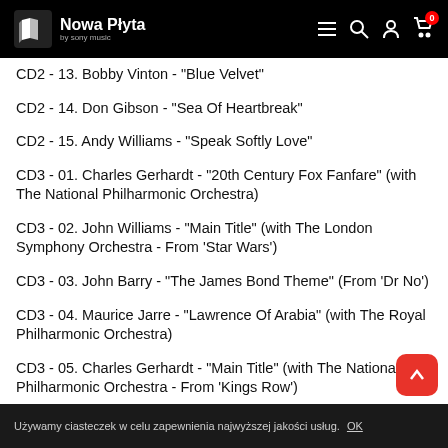Nowa Płyta
CD2 - 13. Bobby Vinton - "Blue Velvet"
CD2 - 14. Don Gibson - "Sea Of Heartbreak"
CD2 - 15. Andy Williams - "Speak Softly Love"
CD3 - 01. Charles Gerhardt - "20th Century Fox Fanfare" (with The National Philharmonic Orchestra)
CD3 - 02. John Williams - "Main Title" (with The London Symphony Orchestra - From 'Star Wars')
CD3 - 03. John Barry - "The James Bond Theme" (From 'Dr No')
CD3 - 04. Maurice Jarre - "Lawrence Of Arabia" (with The Royal Philharmonic Orchestra)
CD3 - 05. Charles Gerhardt - "Main Title" (with The National Philharmonic Orchestra - From 'Kings Row')
CD3 - 06. Giant - "Ray Heindorf" (with The Warner Bros Orchestra)
Używamy ciasteczek w celu zapewnienia najwyższej jakości usług. OK